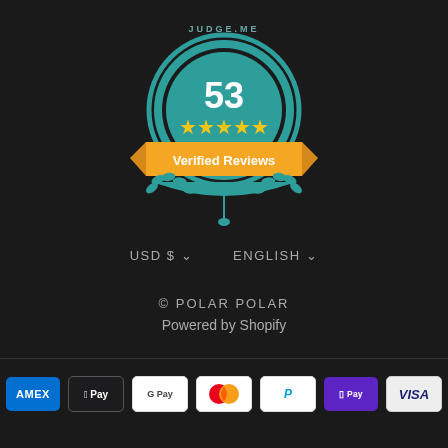[Figure (logo): Judge.me badge with teal circular design showing '53' in white, five yellow stars, and an orange banner reading 'Verified Reviews', with teal laurel wreath decorations]
USD $ ∨   ENGLISH ∨
© POLAR POLAR
Powered by Shopify
[Figure (other): Payment method icons: American Express, Apple Pay, Google Pay, Mastercard, PayPal, Shop Pay, Visa]